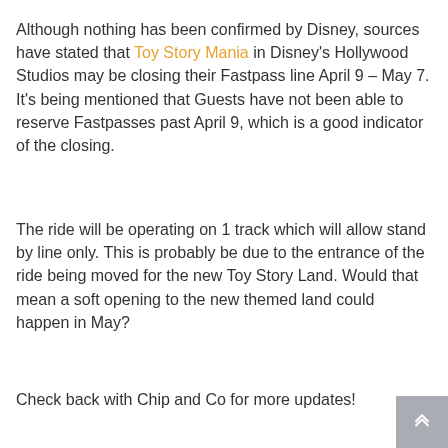Although nothing has been confirmed by Disney, sources have stated that Toy Story Mania in Disney's Hollywood Studios may be closing their Fastpass line April 9 – May 7. It's being mentioned that Guests have not been able to reserve Fastpasses past April 9, which is a good indicator of the closing.
The ride will be operating on 1 track which will allow stand by line only. This is probably be due to the entrance of the ride being moved for the new Toy Story Land. Would that mean a soft opening to the new themed land could happen in May?
Check back with Chip and Co for more updates!